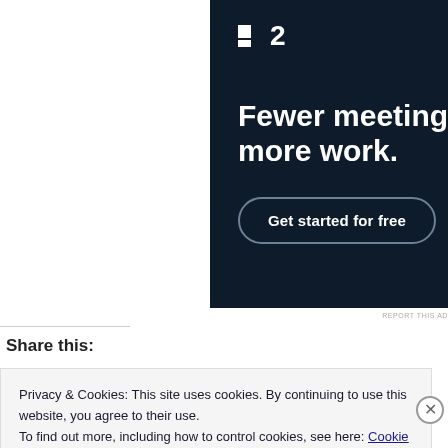[Figure (screenshot): Advertisement banner with dark navy background. Shows a logo '■2' (Pitch logo), headline 'Fewer meetings, more work.' and a CTA button 'Get started for free'.]
REPORT THIS AD
Share this:
Privacy & Cookies: This site uses cookies. By continuing to use this website, you agree to their use.
To find out more, including how to control cookies, see here: Cookie Policy
Close and accept